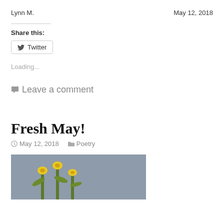Lynn M.
May 12, 2018
Share this:
Twitter
Loading...
Leave a comment
Fresh May!
May 12, 2018   Poetry
[Figure (photo): Photograph of yellow daffodil flowers with green stems against a grey-blue background, partially visible at bottom of page]